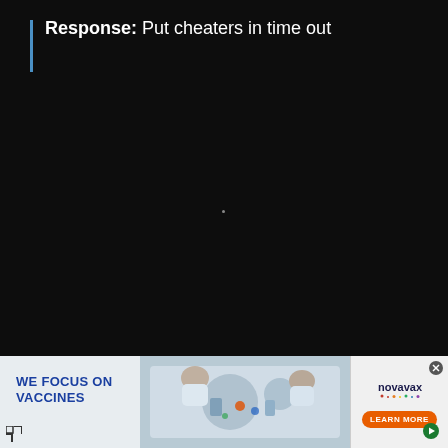Response: Put cheaters in time out
[Figure (screenshot): Dark black video player area, mostly empty/black with a small dot in the center]
[Figure (photo): Advertisement banner: WE FOCUS ON VACCINES with aerial view of scientists at lab table and Novavax logo with LEARN MORE button]